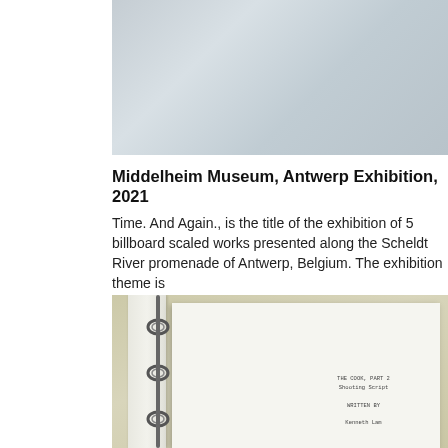[Figure (photo): Top portion of a photograph showing an outdoor scene, appears to be a blurred or abstract image with gray and light blue tones.]
Middelheim Museum, Antwerp Exhibition, 2021
Time. And Again., is the title of the exhibition of 5 billboard scaled works presented along the Scheldt River promenade of Antwerp, Belgium. The exhibition theme is
[Figure (photo): Photograph of an open three-ring binder with a white page inside. The binder sits on a beige/tan surface. The visible page shows text near the bottom reading 'THE COOK, PART 2', 'Shooting Script', 'WRITTEN BY', and 'Kenneth Lam'.]